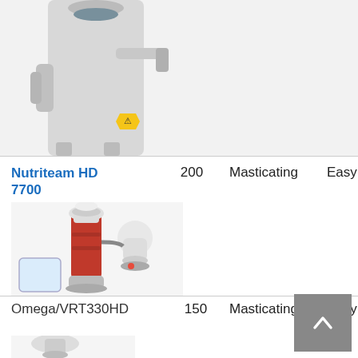[Figure (photo): Top portion of a grey masticating juicer appliance with a yellow safety warning sticker, cropped at top]
| Product | Watts | Type | Ease |
| --- | --- | --- | --- |
| Nutriteam HD 7700 | 200 | Masticating | Easy |
| Omega/VRT330HD | 150 | Masticating | Easy |
[Figure (photo): A red and silver vertical masticating juicer (Omega VRT330HD style) with juicing accessories and a collection cup, displayed on white background]
[Figure (photo): Partial view of a juicer attachment/auger component at the bottom of the page, cropped]